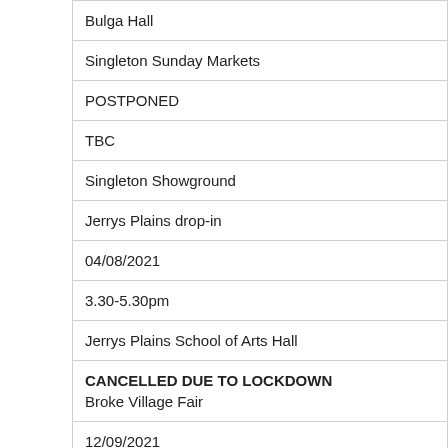| Bulga Hall |
| Singleton Sunday Markets |
| POSTPONED |
| TBC |
| Singleton Showground |
| Jerrys Plains drop-in |
| 04/08/2021 |
| 3.30-5.30pm |
| Jerrys Plains School of Arts Hall |
| CANCELLED DUE TO LOCKDOWN
Broke Village Fair |
| 12/09/2021 |
| TBC |
| McNamara Park |